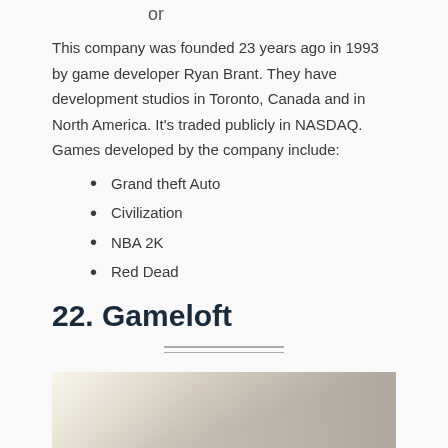or
This company was founded 23 years ago in 1993 by game developer Ryan Brant. They have development studios in Toronto, Canada and in North America. It's traded publicly in NASDAQ. Games developed by the company include:
Grand theft Auto
Civilization
NBA 2K
Red Dead
22. Gameloft
[Figure (photo): Interior architectural photo showing ceiling/structural elements in muted beige and gray tones]